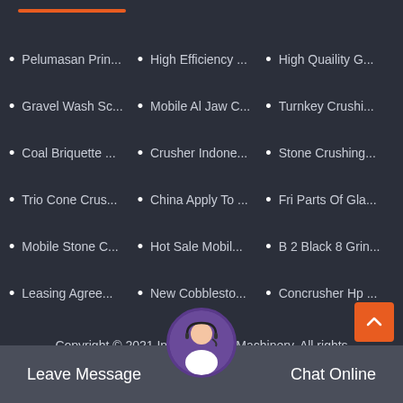Pelumasan Prin...
High Efficiency ...
High Quaility G...
Gravel Wash Sc...
Mobile Al Jaw C...
Turnkey Crushi...
Coal Briquette ...
Crusher Indone...
Stone Crushing...
Trio Cone Crus...
China Apply To ...
Fri Parts Of Gla...
Mobile Stone C...
Hot Sale Mobil...
B 2 Black 8 Grin...
Leasing Agree...
New Cobblesto...
Concrusher Hp ...
Copyright © 2021.Indutri Mining Machinery. All rights reserved. Sitemap